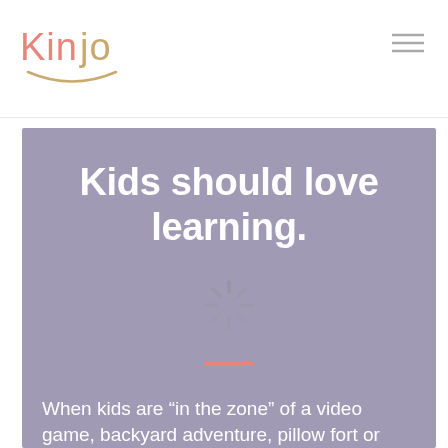[Figure (logo): Kinjo logo with pink and gold lettering and arc underline]
[Figure (infographic): Hamburger menu icon with three horizontal lines]
Kids should love learning.
When kids are “in the zone” of a video game, backyard adventure, pillow fort or make-believe world,